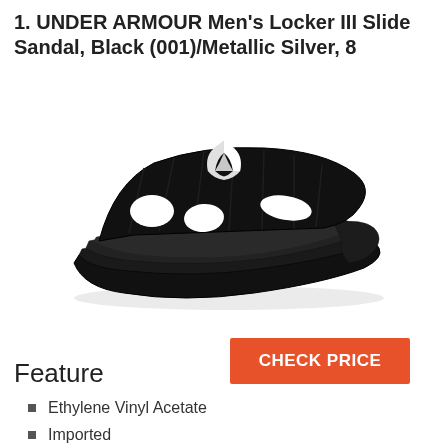1. UNDER ARMOUR Men's Locker III Slide Sandal, Black (001)/Metallic Silver, 8
[Figure (photo): Black Under Armour Men's Locker III Slide Sandal with metallic silver logo on strap, shown on white background]
CHECK PRICE
Feature
Ethylene Vinyl Acetate
Imported
Rubber sole